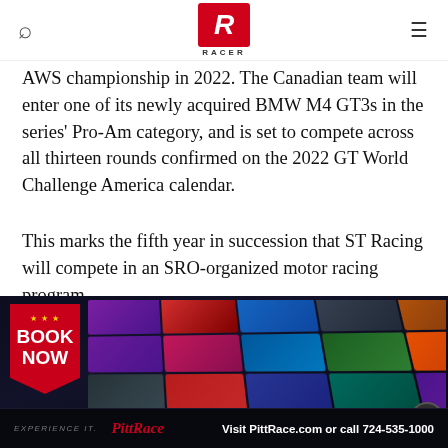RACER (logo)
AWS championship in 2022. The Canadian team will enter one of its newly acquired BMW M4 GT3s in the series' Pro-Am category, and is set to compete across all thirteen rounds confirmed on the 2022 GT World Challenge America calendar.
This marks the fifth year in succession that ST Racing will compete in an SRO-organized motor racing program.
Following an explorative year as 'Samantha Tan Racing' in 2016 — one year on from Samantha's SRO competitive debut — ST Racing threw a significant gauntlet down in 2017 with a two-car, BMW M235iR line-up in the Pirelli World Challenge…
[Figure (photo): Advertisement banner for PittRace (Pittsburgh International Race Complex) showing a grid of racing video thumbnails with a 'Book Now' red ribbon badge on the left and footer text 'Visit PittRace.com or call 724-535-1000']